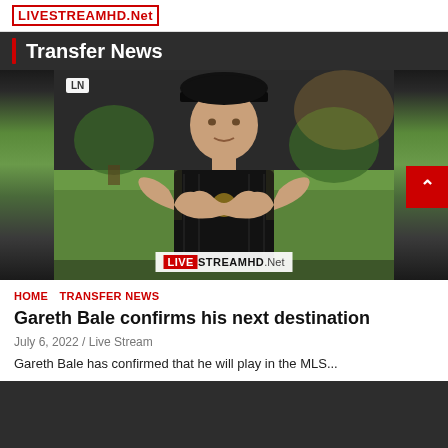LIVESTREAMHD.Net
Transfer News
[Figure (photo): Gareth Bale wearing a black LAFC jersey making a heart shape with his hands, with LIVESTREAMHD.Net watermark overlay]
HOME  TRANSFER NEWS
Gareth Bale confirms his next destination
July 6, 2022 / Live Stream
Gareth Bale has confirmed that he will play in the MLS...